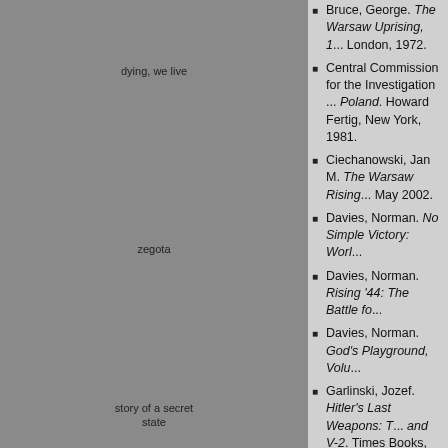[Figure (illustration): Thumbnail image labeled 'dying, we live']
[Figure (illustration): Thumbnail image labeled 'zegota']
[Figure (illustration): Thumbnail image labeled 'story of a secret state']
Bruce, George. The Warsaw Uprising, 1... London, 1972.
Central Commission for the Investigation ... Poland. Howard Fertig, New York, 1981.
Ciechanowski, Jan M. The Warsaw Rising... May 2002.
Davies, Norman. No Simple Victory: Worl...
Davies, Norman. Rising '44: The Battle fo...
Davies, Norman. God's Playground, Volu...
Garlinski, Jozef. Hitler's Last Weapons: T... and V-2. Times Books, 1978.
Hanson, Joanna K.M. The Civilian Popula... University Press, November 1982.
Hempel, Andrew. Poland in World War II:... 2000.
Karski, Jan. Story of a Secret State. Simo...
Komorowski, T. Bor. Secret Army. Battery...
Korbonski, Stefan. Fighting Warsaw: The... State, 1939–1945. Hippocrene Books, 2n...
Korbonski, Stefan. The Polish Undergrou... Hippocrene Books, September 1981.
Kirchmayer, Jerzy. Powstanie Warszawsk...
Kulski, Julian Eugeniusz. Dying, We Live:... in Warsaw (1939–1945). Holt, Rinehart a... New York, 1979.
Lane, Arthur Bliss Lane. I Saw Poland Be... American People. Western Islands, 1965.